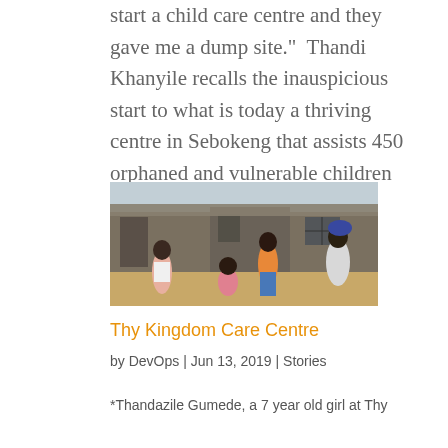start a child care centre and they gave me a dump site.”  Thandi Khanyile recalls the inauspicious start to what is today a thriving centre in Sebokeng that assists 450 orphaned and vulnerable children from the local...
[Figure (photo): Photograph of children playing outside in front of corrugated metal shacks in Sebokeng. Three girls and one older child are visible, some wearing colourful tops.]
Thy Kingdom Care Centre
by DevOps | Jun 13, 2019 | Stories
*Thandazile Gumede, a 7 year old girl at Thy